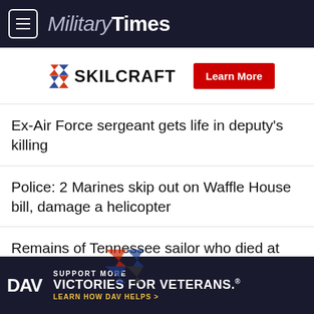Military Times
[Figure (logo): SKILCRAFT logo with chevron graphic and Learn More red button advertisement]
Ex-Air Force sergeant gets life in deputy's killing
Police: 2 Marines skip out on Waffle House bill, damage a helicopter
Remains of Tennessee sailor who died at Pearl Harbor identified
[Figure (logo): Partial DAV (Disabled American Veterans) advertisement - Support More Victories for Veterans. Learn How DAV Helps.]